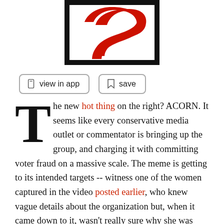[Figure (logo): Salon.com logo — black rectangle with a red S-shaped swoosh on white background]
view in app   save
The new hot thing on the right? ACORN. It seems like every conservative media outlet or commentator is bringing up the group, and charging it with committing voter fraud on a massive scale. The meme is getting to its intended targets -- witness one of the women captured in the video posted earlier, who knew vague details about the organization but, when it came down to it, wasn't really sure why she was supposed to be so angry. John